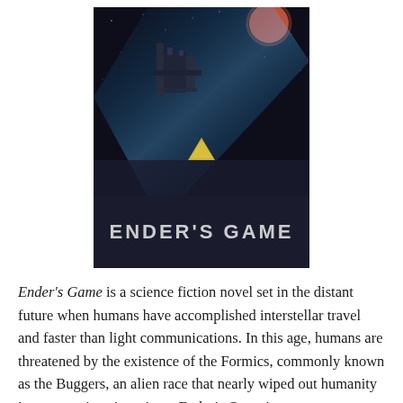[Figure (photo): Book cover of Ender's Game showing a dark space scene with a spacecraft, planet with glowing blue atmosphere, and a yellow triangular shape in the lower center. The title 'ENDER'S GAME' is printed in large spaced uppercase letters on a dark navy background below the image.]
Ender's Game is a science fiction novel set in the distant future when humans have accomplished interstellar travel and faster than light communications. In this age, humans are threatened by the existence of the Formics, commonly known as the Buggers, an alien race that nearly wiped out humanity in two previous invasions. Ender's Game is a